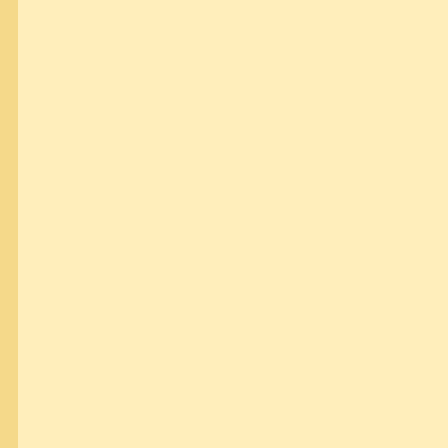Sydney's saddest, loneliest mail box is in the car park in Sa
Castlecrag
You can't find even one mail box in your suburb that bears t Castlecrag, there's a whole battalion of them. It's a cosy sha
And even in one case, we have our own boxes here, but we